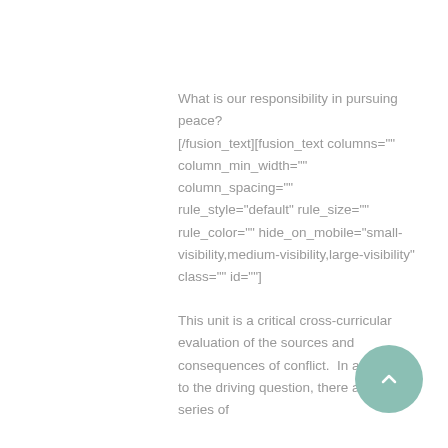What is our responsibility in pursuing peace?
[/fusion_text][fusion_text columns="" column_min_width="" column_spacing="" rule_style="default" rule_size="" rule_color="" hide_on_mobile="small-visibility,medium-visibility,large-visibility" class="" id=""]
This unit is a critical cross-curricular evaluation of the sources and consequences of conflict.  In addition to the driving question, there are a series of